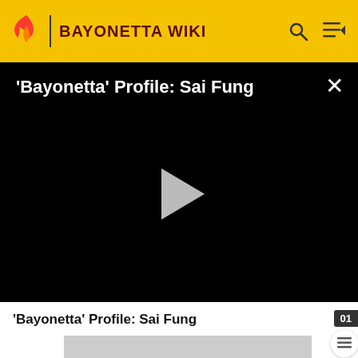BAYONETTA WIKI
'Bayonetta' Profile: Sai Fung
[Figure (screenshot): Black video player area with white play button triangle in center and close X button top right]
'Bayonetta' Profile: Sai Fung
[Figure (screenshot): Gray thumbnail image placeholder strip]